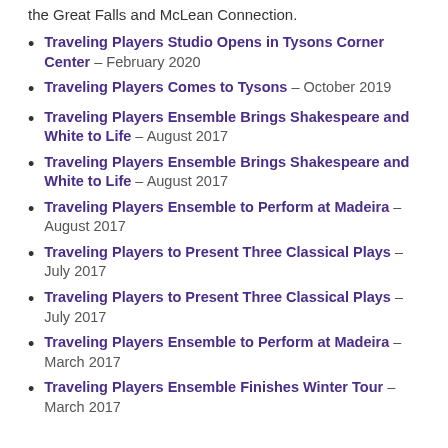the Great Falls and McLean Connection.
Traveling Players Studio Opens in Tysons Corner Center – February 2020
Traveling Players Comes to Tysons – October 2019
Traveling Players Ensemble Brings Shakespeare and White to Life – August 2017
Traveling Players Ensemble Brings Shakespeare and White to Life – August 2017
Traveling Players Ensemble to Perform at Madeira – August 2017
Traveling Players to Present Three Classical Plays – July 2017
Traveling Players to Present Three Classical Plays – July 2017
Traveling Players Ensemble to Perform at Madeira – March 2017
Traveling Players Ensemble Finishes Winter Tour – March 2017